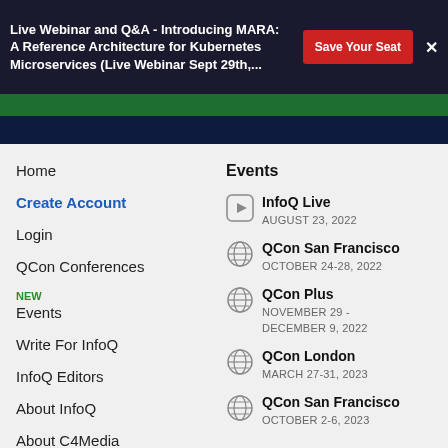Live Webinar and Q&A - Introducing MARA: A Reference Architecture for Kubernetes Microservices (Live Webinar Sept 29th,...
Home
Create Account
Login
QCon Conferences
Events NEW
Write For InfoQ
InfoQ Editors
About InfoQ
About C4Media
Media Kit
Events
InfoQ Live
AUGUST 23, 2022
QCon San Francisco
OCTOBER 24-28, 2022
QCon Plus
NOVEMBER 29 -
DECEMBER 9, 2022
QCon London
MARCH 27-31, 2023
QCon San Francisco
OCTOBER 2-6, 2023